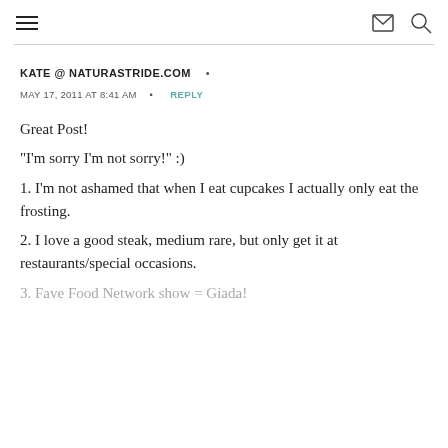≡  ✉ 🔍
KATE @ NATURASTRIDE.COM •
MAY 17, 2011 AT 8:41 AM • REPLY
Great Post!
"I'm sorry I'm not sorry!" :)
1. I'm not ashamed that when I eat cupcakes I actually only eat the frosting.
2. I love a good steak, medium rare, but only get it at restaurants/special occasions.
3. Fave Food Network show = Giada!